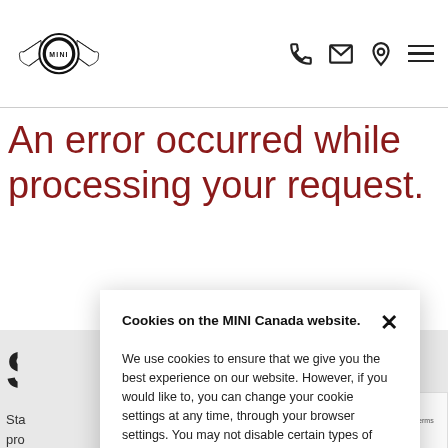MINI Canada website header with logo and navigation icons (phone, email, location, menu)
An error occurred while processing your request.
Cookies on the MINI Canada website.
We use cookies to ensure that we give you the best experience on our website. However, if you would like to, you can change your cookie settings at any time, through your browser settings. You may not disable certain types of cookies that are essential to the operation of our website and that are considered strictly necessary cookies. For example, we use strictly necessary cookies to provide you with regional pricing information. You can find detailed information about how cookies are used on this website by clicking here.